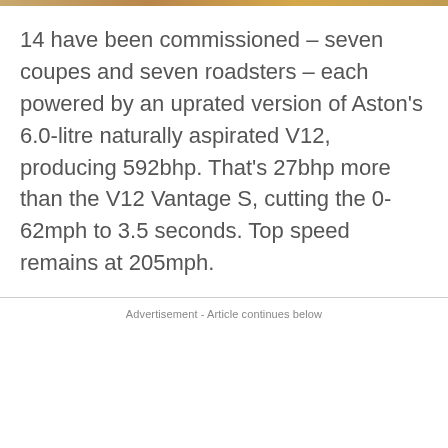14 have been commissioned – seven coupes and seven roadsters – each powered by an uprated version of Aston's 6.0-litre naturally aspirated V12, producing 592bhp. That's 27bhp more than the V12 Vantage S, cutting the 0-62mph to 3.5 seconds. Top speed remains at 205mph.
Advertisement - Article continues below